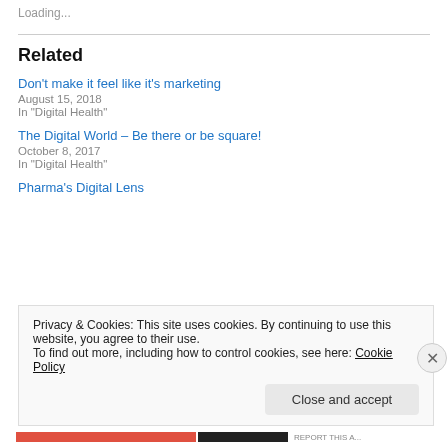Loading...
Related
Don't make it feel like it's marketing
August 15, 2018
In "Digital Health"
The Digital World – Be there or be square!
October 8, 2017
In "Digital Health"
Pharma's Digital Lens
Privacy & Cookies: This site uses cookies. By continuing to use this website, you agree to their use. To find out more, including how to control cookies, see here: Cookie Policy
Close and accept